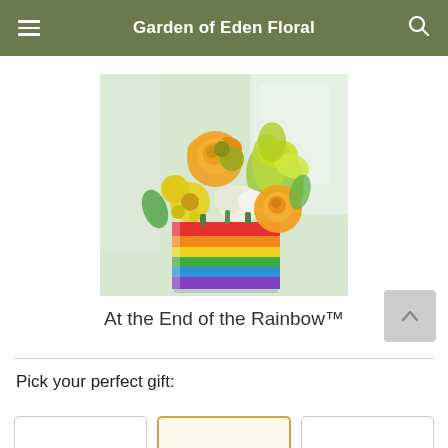Garden of Eden Floral
[Figure (photo): Floral arrangement in a rainbow-striped square vase. Flowers include yellow/orange roses, yellow daisies, white carnations, and green lilies. The cube vase has horizontal color bands: red, orange, yellow, green, blue, and purple (rainbow colors). Background is light green/white blurred.]
At the End of the Rainbow™
Pick your perfect gift: